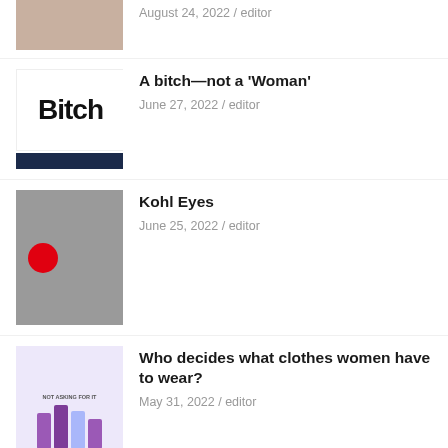August 24, 2022 / editor
A bitch—not a ‘Woman’
June 27, 2022 / editor
Kohl Eyes
June 25, 2022 / editor
Who decides what clothes women have to wear?
May 31, 2022 / editor
Happy Menstrual Hygiene Day
May 28, 2022 / editor
“Bindi” is the identity of Bengali